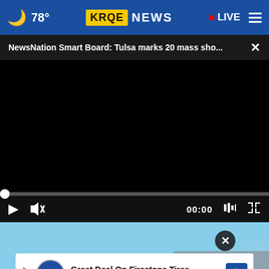🌙 78° KRQE NEWS • LIVE ≡
NewsNation Smart Board: Tulsa marks 20 mass sho... ×
[Figure (screenshot): Black video player area, paused at 00:00, with play button, mute button, timestamp 00:00, caption icon, and fullscreen icon. Progress bar at start.]
[Figure (photo): Thumbnail image showing outdoor scene with blue sky and rooftop, with a dark circular close button overlay.]
Great Deal On Firestone Tires VirginiaTire & Auto of Ashburn Fa.